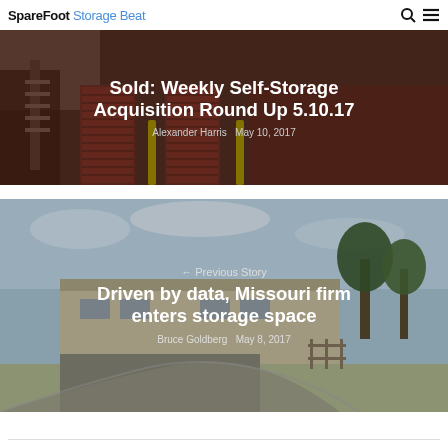SpareFoot Storage Beat
[Figure (photo): Self-storage facility with red roll-up doors and stairs]
Sold: Weekly Self-Storage Acquisition Round Up 5.10.17
Alexander Harris May 10, 2017
[Figure (photo): Architectural rendering of a Missouri storage facility, showing a modern building with driveway and trees]
← Previous Story
Driven by data, Missouri firm enters storage space
Bruce Goldberg May 8, 2017